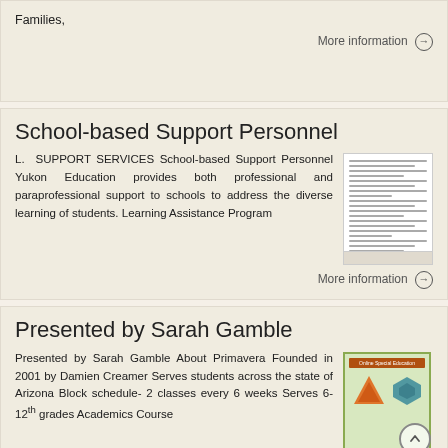Families,
More information →
School-based Support Personnel
L. SUPPORT SERVICES School-based Support Personnel Yukon Education provides both professional and paraprofessional support to schools to address the diverse learning of students. Learning Assistance Program
[Figure (illustration): Thumbnail of a document page with horizontal text lines]
More information →
Presented by Sarah Gamble
Presented by Sarah Gamble About Primavera Founded in 2001 by Damien Creamer Serves students across the state of Arizona Block schedule- 2 classes every 6 weeks Serves 6-12 th grades Academics Course
[Figure (illustration): Cover image of an Online Special Education resource with orange and teal icons on green background, with scroll-to-top button overlay]